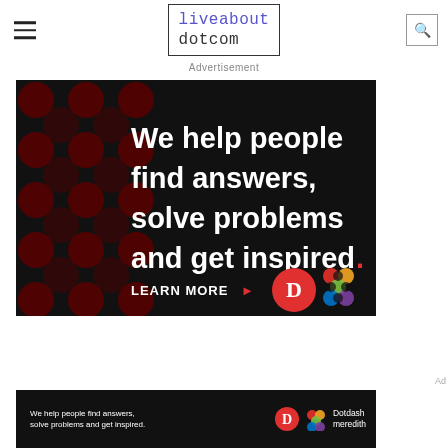liveabout dotcom
Advertisement
[Figure (infographic): Dotdash Meredith ad on black background with dark red dot pattern. Bold white text reads 'We help people find answers, solve problems and get inspired.' with red period. 'LEARN MORE' call to action with red arrow. Dotdash logo (D in red circle) and Meredith colorful knot logo.]
[Figure (infographic): Small banner ad at bottom: black background, white text 'We help people find answers, solve problems and get inspired.' with Dotdash D logo and colorful Meredith knot logo, and 'Dotdash meredith' text in white.]